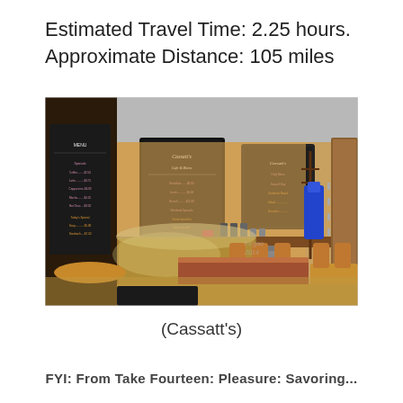Estimated Travel Time: 2.25 hours. Approximate Distance: 105 miles
[Figure (photo): Interior of Cassatt's cafe showing chalkboard menus on walls, a curved glass display case, cafe chairs and tables, and a blue jacket hanging on a coat rack.]
(Cassatt's)
FYI: From Take Fourteen: Pleasure: Savoring...